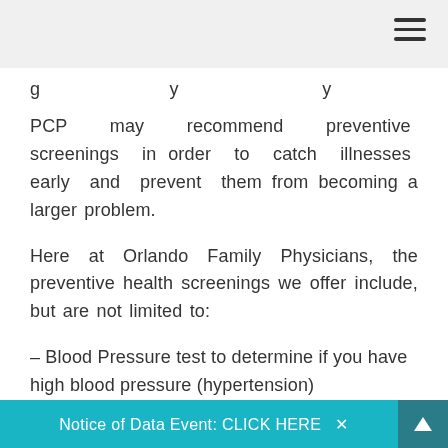g ... y ... y PCP may recommend preventive screenings in order to catch illnesses early and prevent them from becoming a larger problem.
Here at Orlando Family Physicians, the preventive health screenings we offer include, but are not limited to:
– Blood Pressure test to determine if you have high blood pressure (hypertension)
– Blood Sugar tests to measure how well your body processes sugar (glucose)
Notice of Data Event: CLICK HERE  ✕